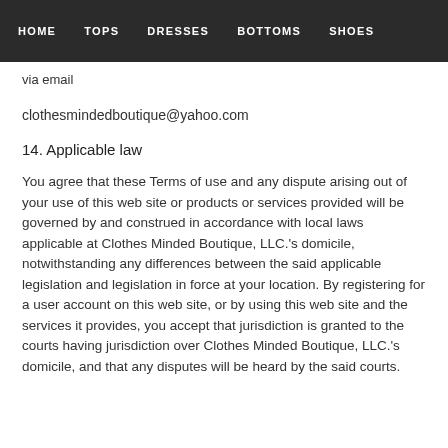HOME  TOPS  DRESSES  BOTTOMS  SHOES
via email
clothesmindedboutique@yahoo.com
14. Applicable law
You agree that these Terms of use and any dispute arising out of your use of this web site or products or services provided will be governed by and construed in accordance with local laws applicable at Clothes Minded Boutique, LLC.'s domicile, notwithstanding any differences between the said applicable legislation and legislation in force at your location. By registering for a user account on this web site, or by using this web site and the services it provides, you accept that jurisdiction is granted to the courts having jurisdiction over Clothes Minded Boutique, LLC.'s domicile, and that any disputes will be heard by the said courts.